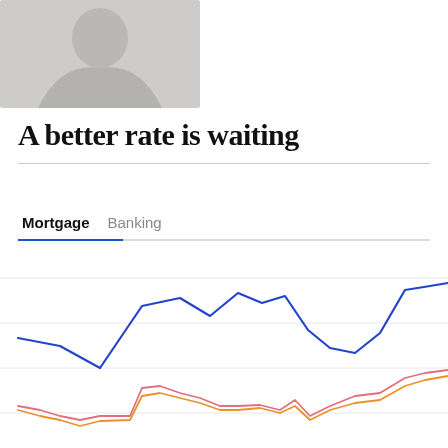[Figure (photo): Grayscale photo of a person, partially cropped, top-left of page]
A better rate is waiting
Mortgage   Banking
[Figure (line-chart): Line chart with three lines: one blue (top), one pink/salmon, one orange, showing rate trends over time. Blue line is highest, pink and orange lines are lower and close together.]